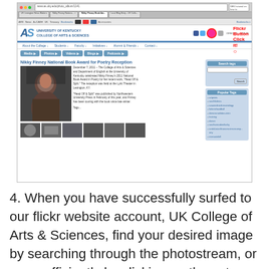[Figure (screenshot): Screenshot of the University of Kentucky College of Arts & Sciences website showing a page titled 'Nikky Finney National Book Award for Poetry Reception', with a photo of a woman, article text, thumbnail images, a sidebar with search and popular tags, and a hand-drawn red annotation circling the Flickr button with text 'Flickr Button Click it!']
4. When you have successfully surfed to our flickr website account, UK College of Arts & Sciences, find your desired image by searching through the photostream, or more efficiently by clicking on the sets link shown here...